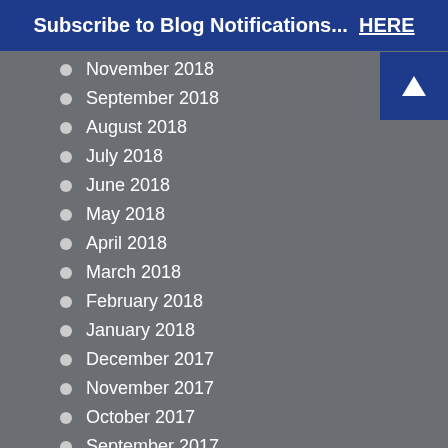Subscribe to Blog Notifications... HERE
November 2018
September 2018
August 2018
July 2018
June 2018
May 2018
April 2018
March 2018
February 2018
January 2018
December 2017
November 2017
October 2017
September 2017
August 2017
July 2017
May 2017
April 2017
March 2017
February 2017
January 2017
December 2016
November 2016